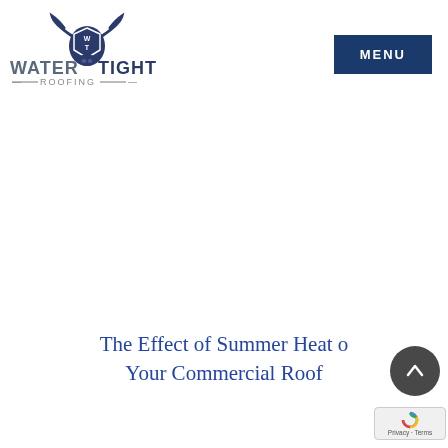[Figure (logo): Water Tight Roofing logo with longhorn bull head icon, 'WATER TIGHT' text and '— ROOFING —' subtitle in dark navy/gray]
MENU
The Effect of Summer Heat on Your Commercial Roof